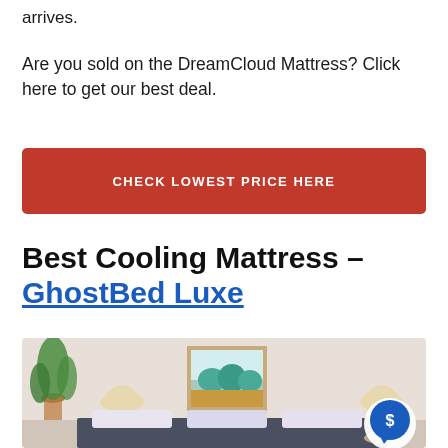arrives.
Are you sold on the DreamCloud Mattress? Click here to get our best deal.
CHECK LOWEST PRICE HERE
Best Cooling Mattress – GhostBed Luxe
[Figure (photo): Bedroom interior with a plant, lamp, framed teal mountain painting, and a bed. A blue chat bubble with a dollar sign icon is overlaid in the bottom-right corner.]